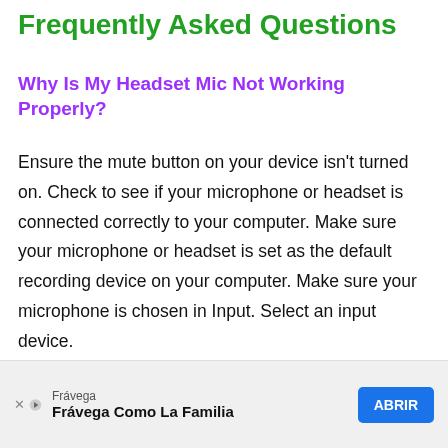Frequently Asked Questions
Why Is My Headset Mic Not Working Properly?
Ensure the mute button on your device isn't turned on. Check to see if your microphone or headset is connected correctly to your computer. Make sure your microphone or headset is set as the default recording device on your computer. Make sure your microphone is chosen in Input. Select an input device.
How…
Frávega — Frávega Como La Familia — ABRIR (advertisement)